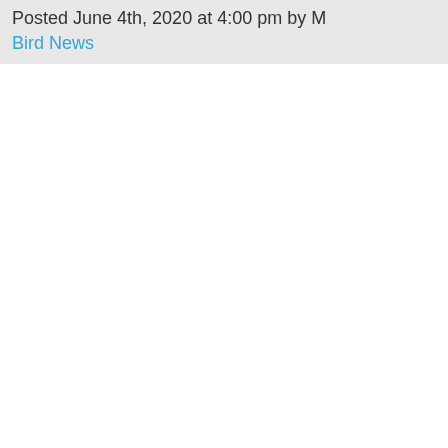Posted June 4th, 2020 at 4:00 pm by M
Bird News